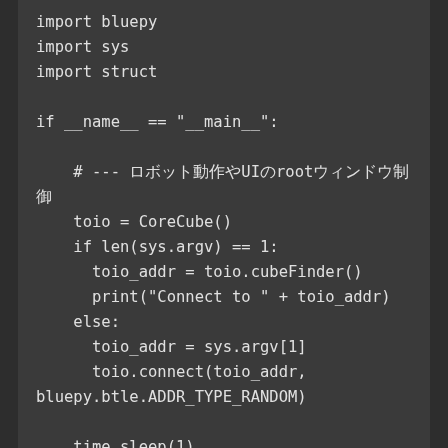import bluepy
import sys
import struct

if __name__ == "__main__":

    # --- ロボット動作やUIのrootウィンドウ制御
    toio = CoreCube()
    if len(sys.argv) == 1:
        toio_addr = toio.cubeFinder()
        print("Connect to " + toio_addr)
    else:
        toio_addr = sys.argv[1]
        toio.connect(toio_addr,
bluepy.btle.ADDR_TYPE_RANDOM)

    time.sleep(1)